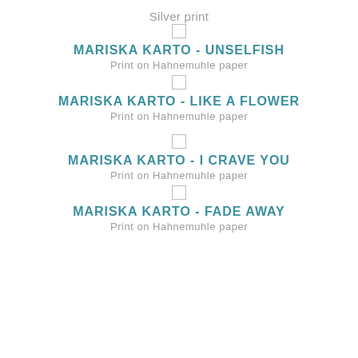Silver print
[Figure (other): Checkbox (empty square)]
MARISKA KARTO - UNSELFISH
Print on Hahnemuhle paper
[Figure (other): Checkbox (empty square)]
MARISKA KARTO - LIKE A FLOWER
Print on Hahnemuhle paper
[Figure (other): Checkbox (empty square)]
MARISKA KARTO - I CRAVE YOU
Print on Hahnemuhle paper
[Figure (other): Checkbox (empty square)]
MARISKA KARTO - FADE AWAY
Print on Hahnemuhle paper